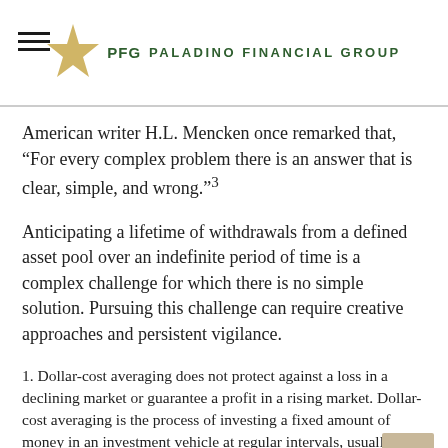PFG PALADINO FINANCIAL GROUP
American writer H.L. Mencken once remarked that, “For every complex problem there is an answer that is clear, simple, and wrong.”³
Anticipating a lifetime of withdrawals from a defined asset pool over an indefinite period of time is a complex challenge for which there is no simple solution. Pursuing this challenge can require creative approaches and persistent vigilance.
1. Dollar-cost averaging does not protect against a loss in a declining market or guarantee a profit in a rising market. Dollar-cost averaging is the process of investing a fixed amount of money in an investment vehicle at regular intervals, usually monthly, for an extended period of time regardless of price. Investors should evaluate their